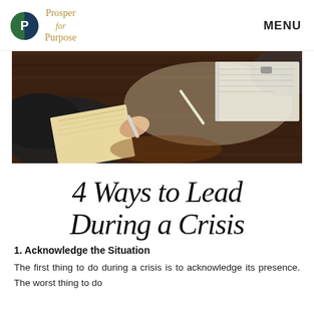Prosper for Purpose | MENU
[Figure (photo): Two people writing/taking notes at a dark wooden desk, overhead close-up view showing hands, pens, and a notebook.]
4 Ways to Lead During a Crisis
1. Acknowledge the Situation
The first thing to do during a crisis is to acknowledge its presence. The worst thing to do